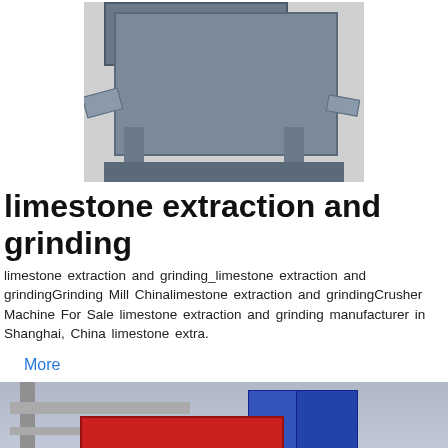[Figure (photo): Industrial crusher machine, gray metal body with orange panel and dark red window, mechanical arms on sides, on a base with legs, white background]
limestone extraction and grinding
limestone extraction and grinding_limestone extraction and grindingGrinding Mill Chinalimestone extraction and grindingCrusher Machine For Sale limestone extraction and grinding manufacturer in Shanghai, China limestone extra.
More
[Figure (photo): Industrial grinding/milling facility interior showing a large red machine/conveyor, structural steel frame on left, blue banners/signs on right with Chinese text, industrial hall background]